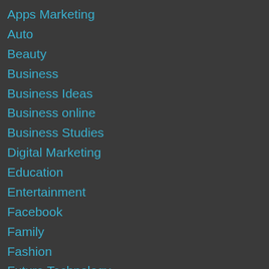Apps Marketing
Auto
Beauty
Business
Business Ideas
Business online
Business Studies
Digital Marketing
Education
Entertainment
Facebook
Family
Fashion
Future Technology
Google
Health
Home Improvement
Internet Marketing
Lifestyle